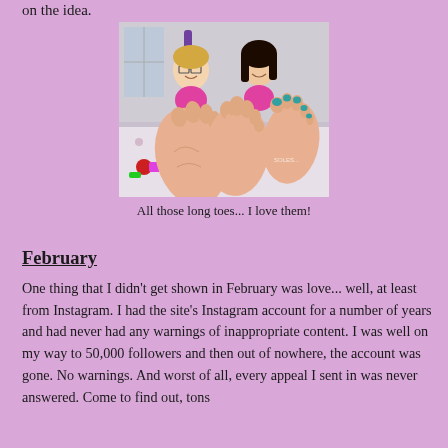on the idea.
[Figure (photo): Two women in pink shirts lying on a bed displaying the soles of their feet toward the camera, smiling. One has glasses and blonde hair, the other has dark hair. Colorful items visible in background.]
All those long toes... I love them!
February
One thing that I didn't get shown in February was love... well, at least from Instagram. I had the site's Instagram account for a number of years and had never had any warnings of inappropriate content. I was well on my way to 50,000 followers and then out of nowhere, the account was gone. No warnings. And worst of all, every appeal I sent in was never answered. Come to find out, tons